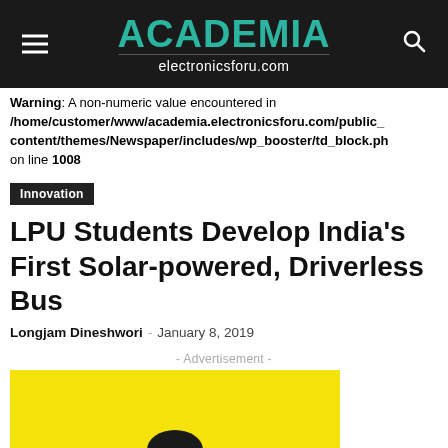ACADEMIA electronicsforu.com
Warning: A non-numeric value encountered in /home/customer/www/academia.electronicsforu.com/public_content/themes/Newspaper/includes/wp_booster/td_block.ph on line 1008
Innovation
LPU Students Develop India’s First Solar-powered, Driverless Bus
Longjam Dineshwori – January 8, 2019
- Advertisement -
[Figure (photo): Woman with long dark hair wearing glasses and a white outfit, against a bright yellow background. Advertisement image.]